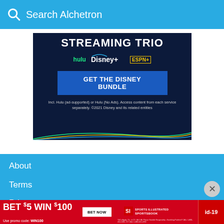Search Alchetron
[Figure (infographic): Disney Bundle advertisement showing STREAMING TRIO with Hulu, Disney+, and ESPN+ logos, a GET THE DISNEY BUNDLE button, and disclaimer text about ad-supported and no-ads Hulu options. ©2021 Disney.]
About
Terms
Privacy
Contact
BET $5 WIN $100 Use promo code: WIN100 | BET NOW | SI SPORTSBOOK | id-19